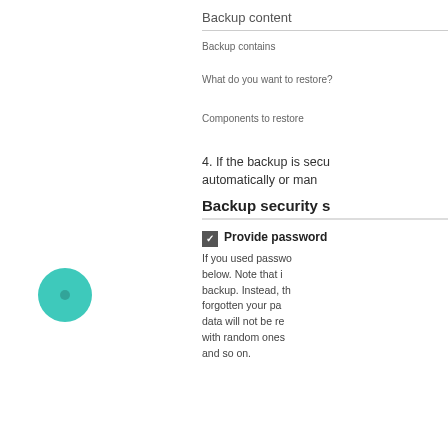Backup content
Backup contains
What do you want to restore?
Components to restore
[Figure (illustration): Teal circle with dark center dot, used as a step indicator on the left side of the page]
4. If the backup is secu automatically or mar
Backup security s
Provide password
If you used passwo below. Note that i backup. Instead, th forgotten your pa data will not be re with random ones and so on.